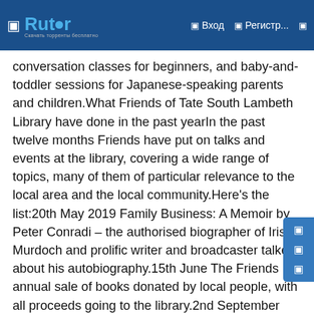Rutor | Вход | Регистр...
conversation classes for beginners, and baby-and-toddler sessions for Japanese-speaking parents and children.What Friends of Tate South Lambeth Library have done in the past yearIn the past twelve months Friends have put on talks and events at the library, covering a wide range of topics, many of them of particular relevance to the local area and the local community.Here's the list:20th May 2019 Family Business: A Memoir by Peter Conradi – the authorised biographer of Iris Murdoch and prolific writer and broadcaster talked about his autobiography.15th June The Friends annual sale of books donated by local people, with all proceeds going to the library.2nd September Samuel Johnson and the Lambeth Mysteries – Ross Davies from vauxhallhistory.org traced Samuel Johnson's connections with Lambeth. The talk was preceded by a guided walk led by David E. Coke through the site of Vauxhall Gardens.2nd October The Age of Stupid – A screening of the famous documentary in partnership with the No Planet B Film Club.23rd October Vauxhall Tide: Conversations and Creativity Local residents presented and talked about the